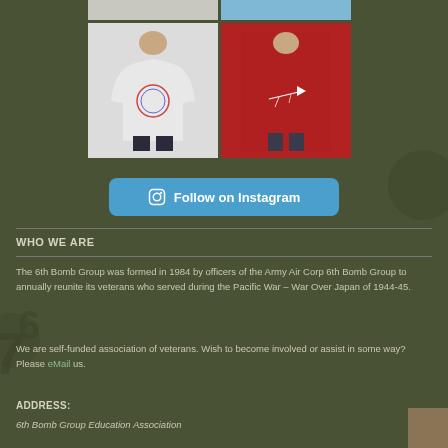[Figure (photo): Two product photos at top: left shows white long-sleeve shirt partially visible, right shows blue sky or shirt background partially visible]
[Figure (photo): White long-sleeve shirt with circular logo graphic worn by a young model]
[Figure (photo): Red t-shirt with airplane graphic worn by a young model]
[Figure (infographic): Follow on Instagram button with Instagram icon in blue rounded rectangle]
WHO WE ARE
The 6th Bomb Group was formed in 1984 by officers of the Army Air Corp 6th Bomb Group to annually reunite its veterans who served during the Pacific War – War Over Japan of 1944-45.
We are self-funded association of veterans. Wish to become involved or assist in some way? Please eMail us.
ADDRESS:
6th Bomb Group Education Association